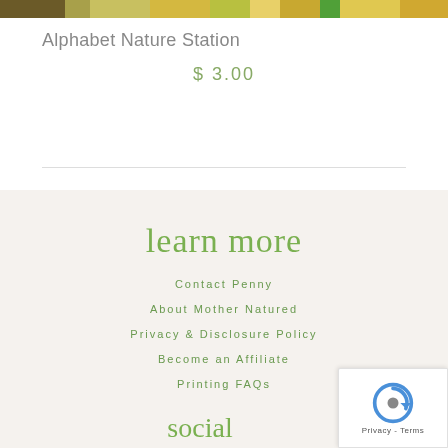[Figure (photo): Colorful image strip at top of page showing nature/educational materials]
Alphabet Nature Station
$ 3.00
learn more
Contact Penny
About Mother Natured
Privacy & Disclosure Policy
Become an Affiliate
Printing FAQs
[Figure (logo): reCAPTCHA badge with Privacy and Terms links]